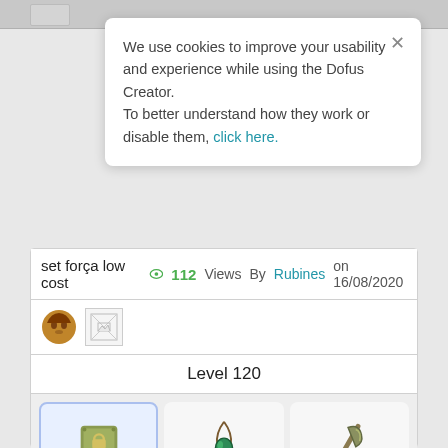We use cookies to improve your usability and experience while using the Dofus Creator.
To better understand how they work or disable them, click here.
set força low cost  👁 112 Views  By Rubines on 16/08/2020
[Figure (screenshot): Avatar icon (brown cartoon character) and a small broken image placeholder]
Level 120
[Figure (screenshot): Three item slots: a green book/box item (highlighted), a green gem pendant, and a green axe]
[Figure (screenshot): Partially visible item slot with red item at bottom left]